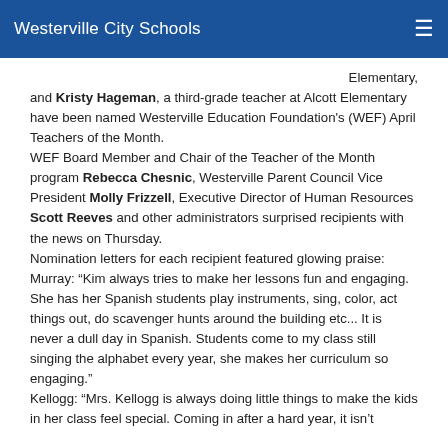Westerville City Schools
Elementary, and Kristy Hageman, a third-grade teacher at Alcott Elementary have been named Westerville Education Foundation's (WEF) April Teachers of the Month.
WEF Board Member and Chair of the Teacher of the Month program Rebecca Chesnic, Westerville Parent Council Vice President Molly Frizzell, Executive Director of Human Resources Scott Reeves and other administrators surprised recipients with the news on Thursday.
Nomination letters for each recipient featured glowing praise:
Murray: “Kim always tries to make her lessons fun and engaging. She has her Spanish students play instruments, sing, color, act things out, do scavenger hunts around the building etc... It is never a dull day in Spanish. Students come to my class still singing the alphabet every year, she makes her curriculum so engaging.”
Kellogg: “Mrs. Kellogg is always doing little things to make the kids in her class feel special. Coming in after a hard year, it isn’t